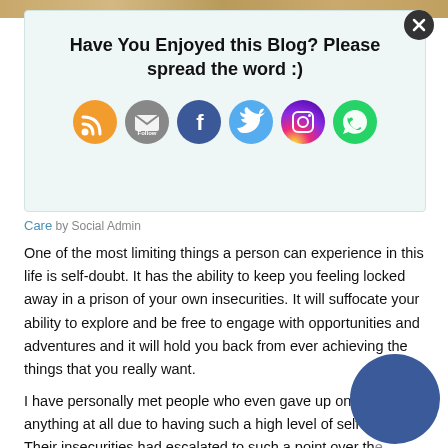[Figure (illustration): Top sandy/wood texture image strip]
[Figure (infographic): Popup box with title 'Have You Enjoyed this Blog? Please spread the word :)' and social media icons: RSS (orange), Email Follow (gray), Facebook (blue), Twitter (light blue), Instagram (purple/pink), WhatsApp (green)]
Care by Social Admin
One of the most limiting things a person can experience in this life is self-doubt. It has the ability to keep you feeling locked away in a prison of your own insecurities. It will suffocate your ability to explore and be free to engage with opportunities and adventures and it will hold you back from ever achieving the things that you really want.
I have personally met people who even gave up on wanting anything at all due to having such a high level of self-doubt. Their insecurities had escalated to such a point over the course of their life where they eventually gave up on even considering that they had a chance of freedom, let alone living their...